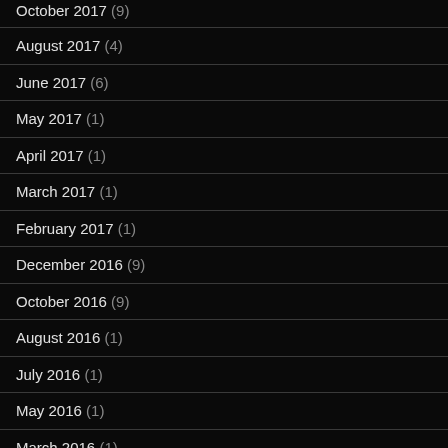October 2017 (9)
August 2017 (4)
June 2017 (6)
May 2017 (1)
April 2017 (1)
March 2017 (1)
February 2017 (1)
December 2016 (9)
October 2016 (9)
August 2016 (1)
July 2016 (1)
May 2016 (1)
March 2016 (1)